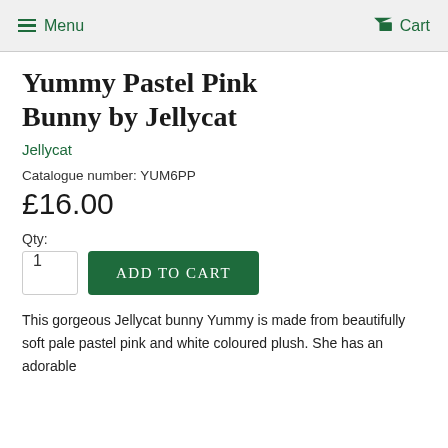Menu  Cart
Yummy Pastel Pink Bunny by Jellycat
Jellycat
Catalogue number: YUM6PP
£16.00
Qty:
1  ADD TO CART
This gorgeous Jellycat bunny Yummy is made from beautifully soft pale pastel pink and white coloured plush. She has an adorable